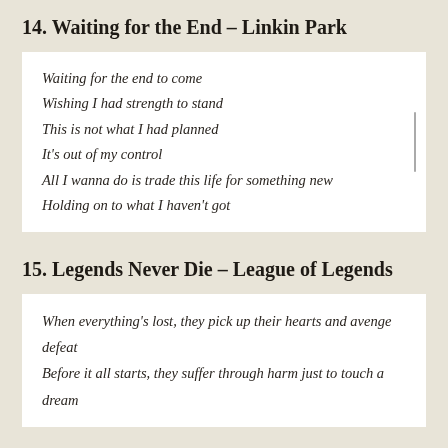14. Waiting for the End – Linkin Park
Waiting for the end to come
Wishing I had strength to stand
This is not what I had planned
It's out of my control
All I wanna do is trade this life for something new
Holding on to what I haven't got
15. Legends Never Die – League of Legends
When everything's lost, they pick up their hearts and avenge defeat
Before it all starts, they suffer through harm just to touch a dream
16. Paint it, Black – Ciara